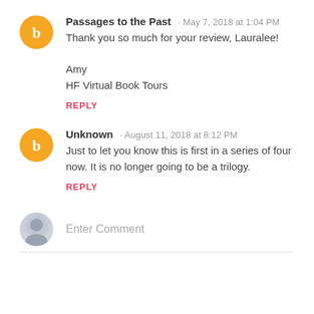Passages to the Past · May 7, 2018 at 1:04 PM
Thank you so much for your review, Lauralee!

Amy
HF Virtual Book Tours
REPLY
Unknown · August 11, 2018 at 8:12 PM
Just to let you know this is first in a series of four now. It is no longer going to be a trilogy.
REPLY
Enter Comment